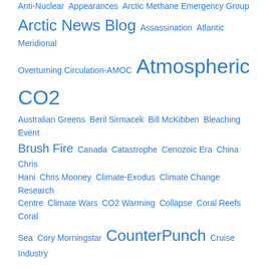Anti-Nuclear Appearances Arctic Methane Emergency Group Arctic News Blog Assassination Atlantic Meridional Overturning Circulation-AMOC Atmospheric CO2 Australian Greens Beril Sirmacek Bill McKibben Bleaching Event Brush Fire Canada Catastrophe Cenozoic Era China Chris Hani Chris Mooney Climate-Exodus Climate Change Research Centre Climate Wars CO2 Warming Collapse Coral Reefs Coral Sea Cory Morningstar CounterPunch Cruise Industry Dahr Jamail Deep Green Resistance Donald Trump Dr. Guy McPherson Dr. James E Hansen Dr. Mike Joy Dr Andrew Glikson Draught Dr Natalia Shakova East Timor Ecocide Ecosystem collapse El Nino Endangered Dolphins Eric Draitser Erik Michaels Extinction Radio Feedback loops First Blue-Ocean Event in Arctic Forestry Fort McMurray Fukushima Daiichi Gaia Gene Gibson Geneva Conventions George Perkins Marsh Going Dark Great Barrier Reef Green Movement Guests Gulf Steam Gulf Stream System Habitat Habitat Wars Harold H. Hensel Heatwave Mass Casualties IPCC